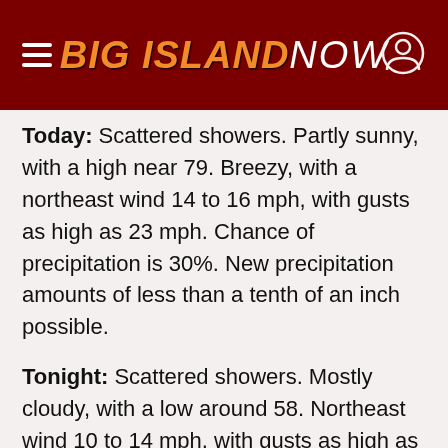BIG ISLAND NOW
Today: Scattered showers. Partly sunny, with a high near 79. Breezy, with a northeast wind 14 to 16 mph, with gusts as high as 23 mph. Chance of precipitation is 30%. New precipitation amounts of less than a tenth of an inch possible.
Tonight: Scattered showers. Mostly cloudy, with a low around 58. Northeast wind 10 to 14 mph, with gusts as high as 18 mph. Chance of precipitation is 30%. New precipitation amounts between a tenth and quarter of an inch possible.
Saturday: Scattered showers. Partly sunny, with a high near 79. Breezy, with a northeast wind 10